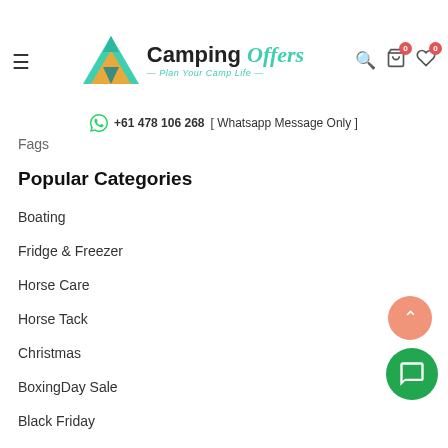[Figure (logo): Camping Offers logo with tent icon and tagline 'Plan Your Camp Life']
+61 478 106 268 [ Whatsapp Message Only ]
Fags
Popular Categories
Boating
Fridge & Freezer
Horse Care
Horse Tack
Christmas
BoxingDay Sale
Black Friday
Cyber Monday
Mother's Day